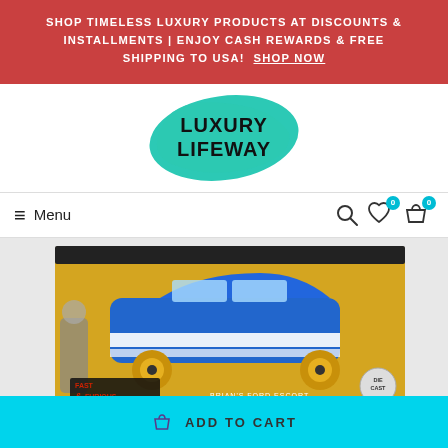SHOP TIMELESS LUXURY PRODUCTS AT DISCOUNTS & INSTALLMENTS | ENJOY CASH REWARDS & FREE SHIPPING TO USA!  SHOP NOW
[Figure (logo): Luxury Lifeway logo — turquoise brush stroke background with black hand-lettered text reading LUXURY LIFEWAY]
≡  Menu
[Figure (photo): Fast & Furious Brian's Ford Escort die-cast model car in blue and white, in retail packaging with golden wheels, showing a person (Paul Walker character) on the box art. Labeled 'BRIAN'S FORD ESCORT' and 'DIE CAST'.]
ADD TO CART